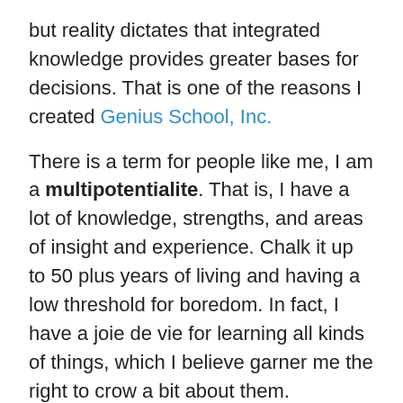but reality dictates that integrated knowledge provides greater bases for decisions. That is one of the reasons I created Genius School, Inc.
There is a term for people like me, I am a multipotentialite. That is, I have a lot of knowledge, strengths, and areas of insight and experience. Chalk it up to 50 plus years of living and having a low threshold for boredom. In fact, I have a joie de vie for learning all kinds of things, which I believe garner me the right to crow a bit about them.
With humility, I do have some weaknesses; but at the end of the day I am a teacher. And although my LinkedIn profile chronicles my professional climb, there is much more in my bag of resources and network.